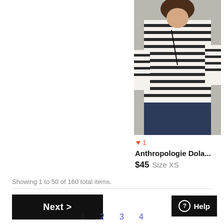[Figure (photo): Woman wearing a black and white striped dolman-style top, with dark jeans, holding necklace]
♥ 1
Anthropologie Dola...
$45  Size XS
Showing 1 to 50 of 160 total items.
Next >
⓪ Help
1  2  3  4